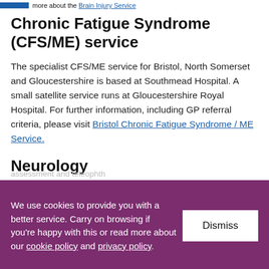more about the Brain Injury Service
Chronic Fatigue Syndrome (CFS/ME) service
The specialist CFS/ME service for Bristol, North Somerset and Gloucestershire is based at Southmead Hospital. A small satellite service runs at Gloucestershire Royal Hospital. For further information, including GP referral criteria, please visit Bristol Chronic Fatigue Syndrome / ME Service.
Neurology
We use cookies to provide you with a better service. Carry on browsing if you're happy with this or read more about our cookie policy and privacy policy.